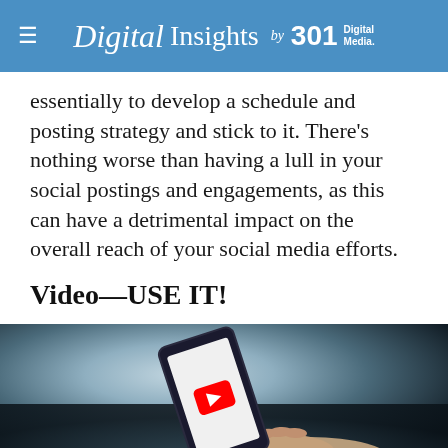Digital Insights by 301 Digital Media.
essentially to develop a schedule and posting strategy and stick to it. There’s nothing worse than having a lull in your social postings and engagements, as this can have a detrimental impact on the overall reach of your social media efforts.
Video—USE IT!
[Figure (photo): A hand holding a smartphone displaying the YouTube app logo, photographed on a dark blurred background.]